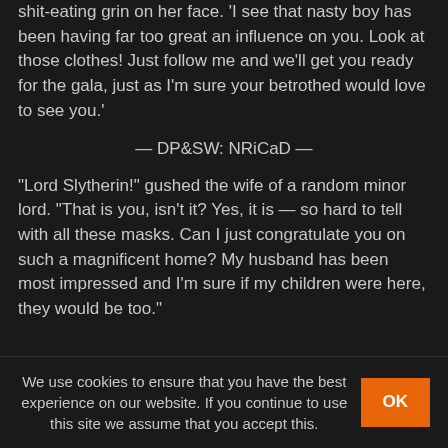shit-eating grin on her face. 'I see that nasty boy has been having far too great an influence on you. Look at those clothes! Just follow me and we'll get you ready for the gala, just as I'm sure your betrothed would love to see you.'
— DP&SW: NRiCaD —
"Lord Slytherin!" gushed the wife of a random minor lord. "That is you, isn't it? Yes, it is — so hard to tell with all these masks. Can I just congratulate you on such a magnificent home? My husband has been most impressed and I'm sure if my children were here, they would be too."
"Thank you," said Daphne graciously, having to clamp down on her occlumency to stop herself snapping at the boring cow.
After a few minutes of polite conversation, she managed to
We use cookies to ensure that you have the best experience on our website. If you continue to use this site we assume that you accept this.